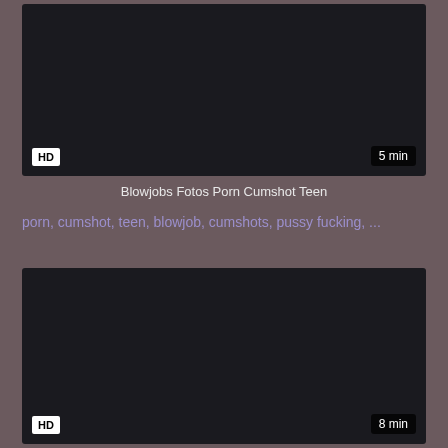[Figure (screenshot): Dark video thumbnail with HD badge and 5 min duration label]
Blowjobs Fotos Porn Cumshot Teen
porn, cumshot, teen, blowjob, cumshots, pussy fucking, ...
[Figure (screenshot): Dark video thumbnail with HD badge and 8 min duration label]